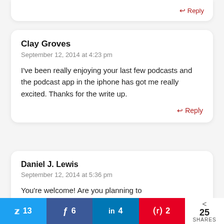↩ Reply
Clay Groves
September 12, 2014 at 4:23 pm
I've been really enjoying your last few podcasts and the podcast app in the iphone has got me really excited. Thanks for the write up.
↩ Reply
Daniel J. Lewis
September 12, 2014 at 5:36 pm
You're welcome! Are you planning to
🐦 13  f 6  in 4  ⊕ 2  < 25 SHARES